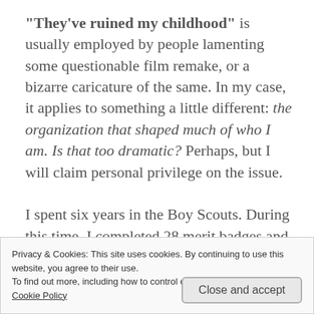“They’ve ruined my childhood” is usually employed by people lamenting some questionable film remake, or a bizarre caricature of the same. In my case, it applies to something a little different: the organization that shaped much of who I am. Is that too dramatic? Perhaps, but I will claim personal privilege on the issue.

I spent six years in the Boy Scouts. During this time, I completed 28 merit badges and held the positions of Instructor, Troop Guide, Patrol
Privacy & Cookies: This site uses cookies. By continuing to use this website, you agree to their use.
To find out more, including how to control cookies, see here:
Cookie Policy
Close and accept